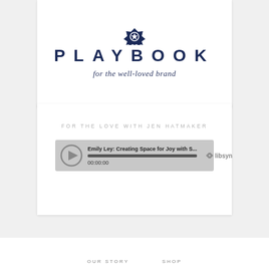[Figure (logo): Playbook brand logo with ribbon/badge icon above text 'PLAYBOOK' and italic tagline 'for the well-loved brand']
FOR THE LOVE WITH JEN HATMAKER
[Figure (other): Podcast audio player bar showing episode 'Emily Ley: Creating Space for Joy with S...' with play button, progress bar, timestamp 00:00:00, and libsyn logo]
OUR STORY   SHOP